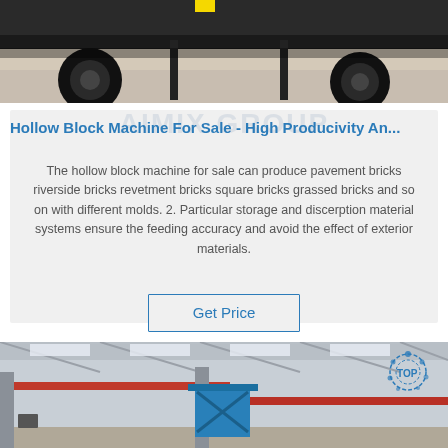[Figure (photo): Close-up photo of the underside and wheels of a heavy truck or industrial vehicle on a concrete floor, showing axles and dark equipment.]
Hollow Block Machine For Sale - High Producivity An...
The hollow block machine for sale can produce pavement bricks riverside bricks revetment bricks square bricks grassed bricks and so on with different molds. 2. Particular storage and discerption material systems ensure the feeding accuracy and avoid the effect of exterior materials.
Get Price
[Figure (photo): Interior of an industrial warehouse or factory with steel roof trusses, a blue scissor lift or aerial work platform in the center, red overhead crane rail beams, and natural light from windows. A 'TOP' watermark logo appears in the upper right corner.]